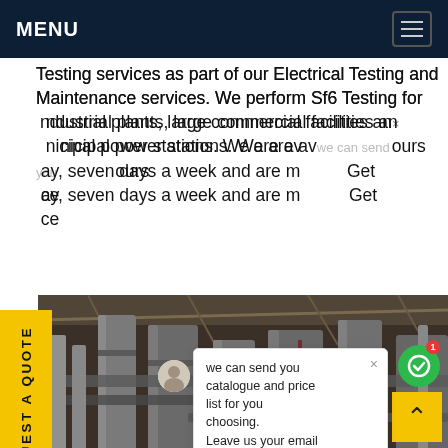MENU
Testing services as part of our Electrical Testing and Maintenance services. We perform Sf6 Testing for industrial plants, large commercial facilities and municipal power stations. We are available 24 hours a day, seven days a week and are mobile. Get ce
[Figure (photo): Industrial plant interior showing large metal pipes, columns and infrastructure in a factory setting]
REQUEST A QUOTE
we can send you catalogue and price list for you choosing. Leave us your email or whatsapp. SF6 Expert  just now  Write